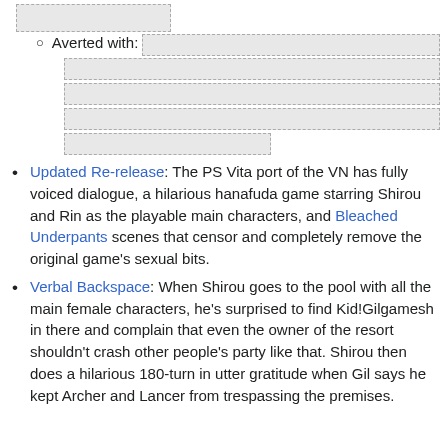[Figure (other): Redacted/placeholder box at top of page]
Averted with: [redacted content blocks]
Updated Re-release: The PS Vita port of the VN has fully voiced dialogue, a hilarious hanafuda game starring Shirou and Rin as the playable main characters, and Bleached Underpants scenes that censor and completely remove the original game's sexual bits.
Verbal Backspace: When Shirou goes to the pool with all the main female characters, he's surprised to find Kid!Gilgamesh in there and complain that even the owner of the resort shouldn't crash other people's party like that. Shirou then does a hilarious 180-turn in utter gratitude when Gil says he kept Archer and Lancer from trespassing the premises.